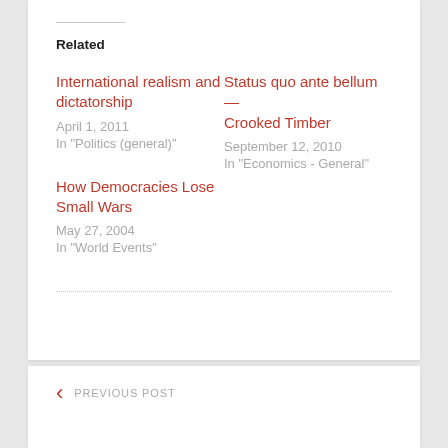Related
International realism and dictatorship
April 1, 2011
In "Politics (general)"
Status quo ante bellum — Crooked Timber
September 12, 2010
In "Economics - General"
How Democracies Lose Small Wars
May 27, 2004
In "World Events"
PREVIOUS POST